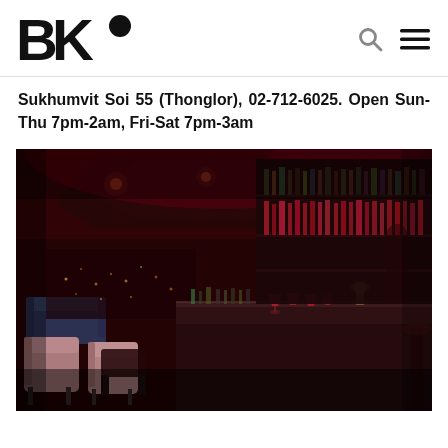BK•
Sukhumvit Soi 55 (Thonglor), 02-712-6025. Open Sun-Thu 7pm-2am, Fri-Sat 7pm-3am
[Figure (photo): Interior of a dark, moody cocktail bar with red lighting, a long bar counter lined with bottles and cocktail glasses, blue velvet sofas and pink/mauve chairs in the foreground, and a city view through windows in the background.]